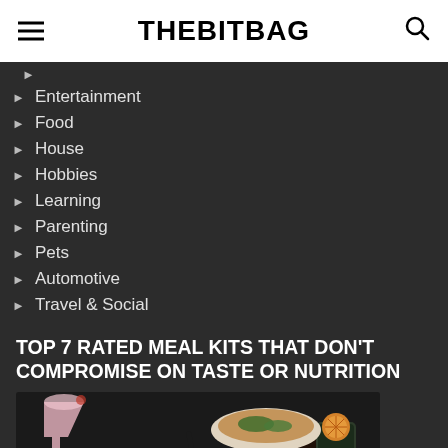THEBITBAG
Entertainment
Food
House
Hobbies
Learning
Parenting
Pets
Automotive
Travel & Social
TOP 7 RATED MEAL KITS THAT DON'T COMPROMISE ON TASTE OR NUTRITION
[Figure (photo): Photo of bowls of ramen/noodle dishes with a pink cocktail glass and a dark drink garnished with a dried orange slice, seen from above on a dark background.]